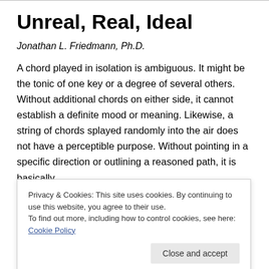Unreal, Real, Ideal
Jonathan L. Friedmann, Ph.D.
A chord played in isolation is ambiguous. It might be the tonic of one key or a degree of several others. Without additional chords on either side, it cannot establish a definite mood or meaning. Likewise, a string of chords splayed randomly into the air does not have a perceptible purpose. Without pointing in a specific direction or outlining a reasoned path, it is basically
Privacy & Cookies: This site uses cookies. By continuing to use this website, you agree to their use.
To find out more, including how to control cookies, see here: Cookie Policy
iously satisfying and they then meet their it